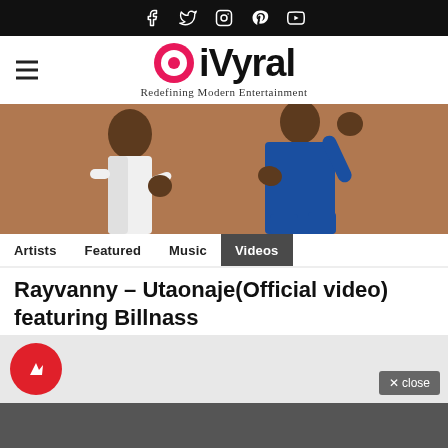Social media icons: Facebook, Twitter, Instagram, Pinterest, YouTube
[Figure (logo): iVyral logo with circular target icon in pink/red, text iVyral in bold black, tagline Redefining Modern Entertainment]
[Figure (photo): Two people dancing or posing, one in white outfit, one in blue outfit, against a tan/brown background, cropped showing torsos and legs]
Artists   Featured   Music   Videos
Rayvanny – Utaonaje(Official video) featuring Billnass
[Figure (logo): Red circular BuzzFeed-style trending/notification icon with white arrow/lightning bolt]
× close